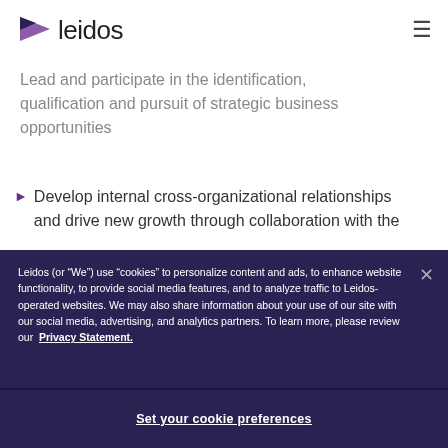[Figure (logo): Leidos logo with purple arrow/triangle shape and 'leidos' wordmark]
Lead and participate in the identification, qualification and pursuit of strategic business opportunities
Develop internal cross-organizational relationships and drive new growth through collaboration with the
Leidos (or “We”) use “cookies” to personalize content and ads, to enhance website functionality, to provide social media features, and to analyze traffic to Leidos-operated websites. We may also share information about your use of our site with our social media, advertising, and analytics partners. To learn more, please review our Privacy Statement.
Set your cookie preferences